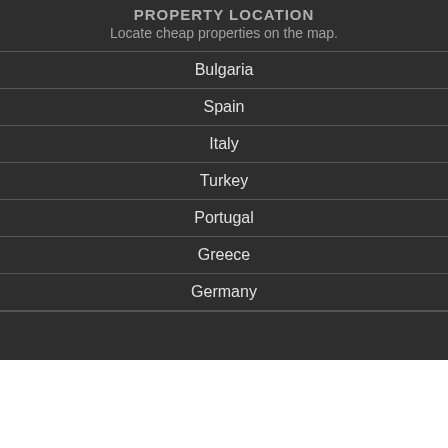PROPERTY LOCATION
Locate cheap properties on the map.
Bulgaria
Spain
Italy
Turkey
Portugal
Greece
Germany